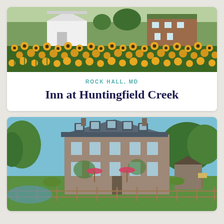[Figure (photo): Aerial/wide view of a farm with a white barn and brick house surrounded by a large field of sunflowers in full bloom]
ROCK HALL, MD
Inn at Huntingfield Creek
[Figure (photo): Exterior photo of a large stone colonial inn building with dormered windows, pink umbrellas on the patio, lush green lawn, wooden fence in foreground, surrounded by trees under blue sky]